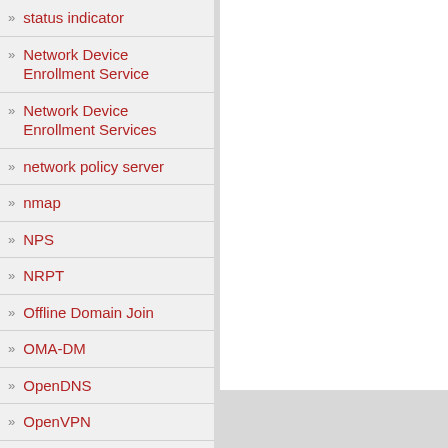status indicator
Network Device Enrollment Service
Network Device Enrollment Services
network policy server
nmap
NPS
NRPT
Offline Domain Join
OMA-DM
OpenDNS
OpenVPN
Operational Support